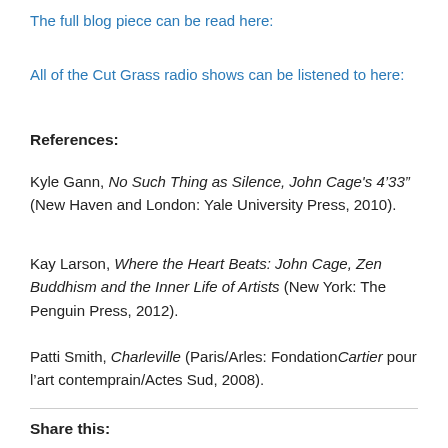The full blog piece can be read here:
All of the Cut Grass radio shows can be listened to here:
References:
Kyle Gann, No Such Thing as Silence, John Cage's 4'33'' (New Haven and London: Yale University Press, 2010).
Kay Larson, Where the Heart Beats: John Cage, Zen Buddhism and the Inner Life of Artists (New York: The Penguin Press, 2012).
Patti Smith, Charleville (Paris/Arles: FondationCartier pour l'art contemprain/Actes Sud, 2008).
Share this: